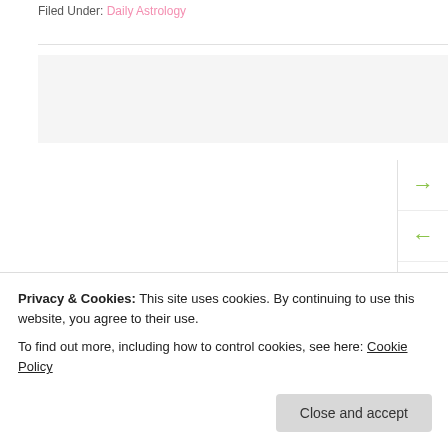Filed Under: Daily Astrology
[Figure (other): Gray advertisement placeholder box]
[Figure (other): Sidebar with green arrow icons: right arrow, left arrow, shuffle, up arrow, down arrow]
« Astrology of Today – Tuesday, August 7, 2018
Astrology of Today – Thursday, August 9, 2018
Leave a Reply
Privacy & Cookies: This site uses cookies. By continuing to use this website, you agree to their use.
To find out more, including how to control cookies, see here: Cookie Policy
This site uses Akismet to reduce spam. Learn how